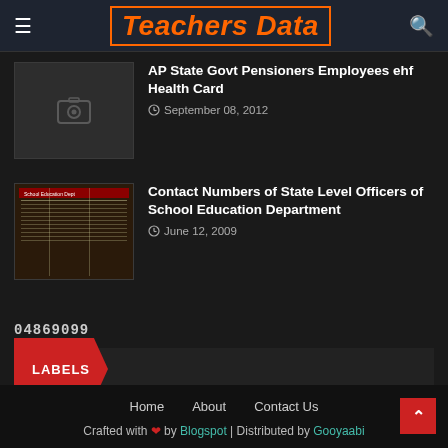Teachers Data
AP State Govt Pensioners Employees ehf Health Card
September 08, 2012
Contact Numbers of State Level Officers of School Education Department
June 12, 2009
04869099
LABELS
Home | About | Contact Us
Crafted with love by Blogspot | Distributed by Gooyaabi